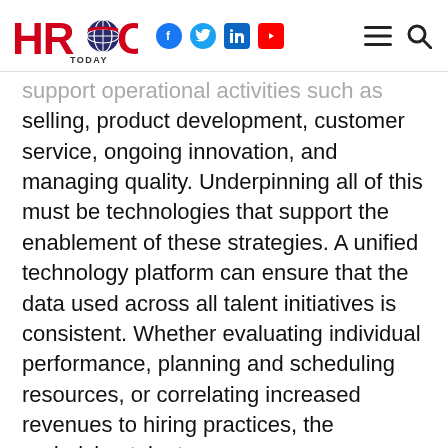HRO Today — with social icons (Facebook, Twitter, LinkedIn, YouTube), hamburger menu, and search
support operational activities such as selling, product development, customer service, ongoing innovation, and managing quality. Underpinning all of this must be technologies that support the enablement of these strategies. A unified technology platform can ensure that the data used across all talent initiatives is consistent. Whether evaluating individual performance, planning and scheduling resources, or correlating increased revenues to hiring practices, the underlying talent